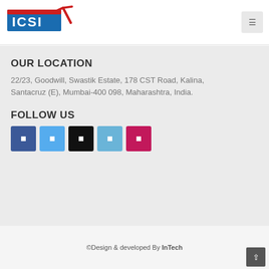[Figure (logo): ICSI logo with blue and red colors and a checkmark/arrow graphic]
OUR LOCATION
22/23, Goodwill, Swastik Estate, 178 CST Road, Kalina, Santacruz (E), Mumbai-400 098, Maharashtra, India.
FOLLOW US
[Figure (infographic): Five social media icon buttons: Facebook (blue), Twitter (light blue), YouTube (black), LinkedIn (light blue), Pinterest (pink/magenta)]
©Design & developed By InTech